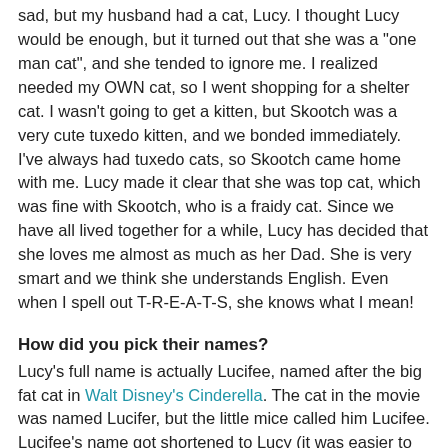sad, but my husband had a cat, Lucy. I thought Lucy would be enough, but it turned out that she was a "one man cat", and she tended to ignore me. I realized needed my OWN cat, so I went shopping for a shelter cat. I wasn't going to get a kitten, but Skootch was a very cute tuxedo kitten, and we bonded immediately. I've always had tuxedo cats, so Skootch came home with me. Lucy made it clear that she was top cat, which was fine with Skootch, who is a fraidy cat. Since we have all lived together for a while, Lucy has decided that she loves me almost as much as her Dad. She is very smart and we think she understands English. Even when I spell out T-R-E-A-T-S, she knows what I mean!
How did you pick their names?
Lucy's full name is actually Lucifee, named after the big fat cat in Walt Disney's Cinderella. The cat in the movie was named Lucifer, but the little mice called him Lucifee. Lucifee's name got shortened to Lucy (it was easier to say and more in keeping with her personality). Skootch went through a bunch of names. I realized he couldn't talk or meow (all he can do is make a raspy whisper sound or squeak when he gets really excited), and I started